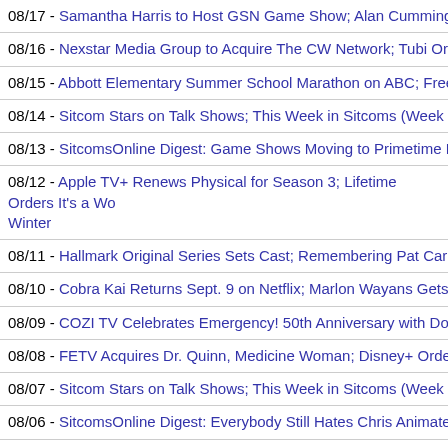08/17 - Samantha Harris to Host GSN Game Show; Alan Cumming Gets Sh...
08/16 - Nexstar Media Group to Acquire The CW Network; Tubi Orders Brea...
08/15 - Abbott Elementary Summer School Marathon on ABC; Freevee's Hig...
08/14 - Sitcom Stars on Talk Shows; This Week in Sitcoms (Week of August...
08/13 - SitcomsOnline Digest: Game Shows Moving to Primetime Emmys; R...
08/12 - Apple TV+ Renews Physical for Season 3; Lifetime Orders It's a Wo... Winter
08/11 - Hallmark Original Series Sets Cast; Remembering Pat Carroll, Roge...
08/10 - Cobra Kai Returns Sept. 9 on Netflix; Marlon Wayans Gets Starz Co...
08/09 - COZI TV Celebrates Emergency! 50th Anniversary with Documentar...
08/08 - FETV Acquires Dr. Quinn, Medicine Woman; Disney+ Orders 2nd Se...
08/07 - Sitcom Stars on Talk Shows; This Week in Sitcoms (Week of August...
08/06 - SitcomsOnline Digest: Everybody Still Hates Chris Animated Series ...
08/05 - Disney+ Series Premiere Dates, Includes Dancing with the Stars; Ha...
08/04 - NBC Moving Days of Our Lives to Peacock, Replacing with News Sh...
08/03 - FX's Atlanta Final Season Launches Sept. 15; Elisabeth Moss Gets...